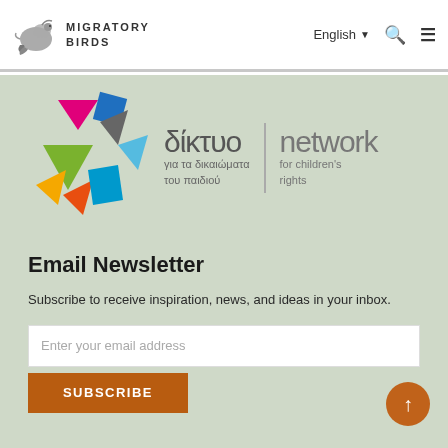MIGRATORY BIRDS | English ▼ 🔍 ☰
[Figure (logo): Network for children's rights logo — colorful geometric bird shape with Greek and English text: δίκτυο για τα δικαιώματα του παιδιού | network for children's rights]
Email Newsletter
Subscribe to receive inspiration, news, and ideas in your inbox.
Enter your email address
SUBSCRIBE